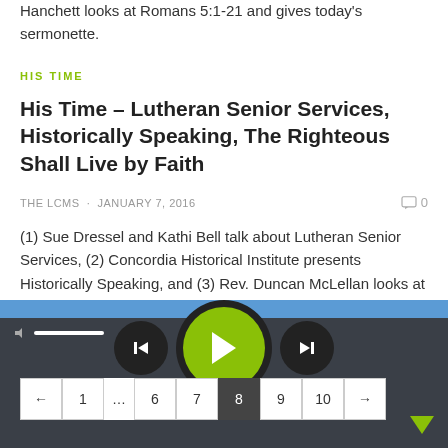Hanchett looks at Romans 5:1-21 and gives today's sermonette.
HIS TIME
His Time – Lutheran Senior Services, Historically Speaking, The Righteous Shall Live by Faith
THE LCMS · JANUARY 7, 2016   0
(1) Sue Dressel and Kathi Bell talk about Lutheran Senior Services, (2) Concordia Historical Institute presents Historically Speaking, and (3) Rev. Duncan McLellan looks at Romans 1:1-17 and gives today's sermonette.
[Figure (screenshot): Pagination bar showing page buttons: ←, 1, …, 6, 7, 8 (active/dark), 9, 10, →]
[Figure (screenshot): Audio player bar with blue stripe, volume control, prev/play/next buttons. Play button is large green circle with right-pointing triangle. A green down-arrow at bottom right.]